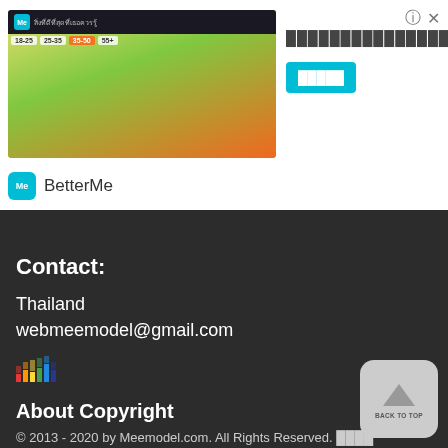[Figure (screenshot): Ad banner for BetterMe app showing women figures and Thai text with a teal call-to-action button]
Contact:
Thailand
webmeemodel@gmail.com
[Figure (illustration): Colorful equalizer/music bar icon]
About Copyright
© 2013 - 2020 by Meemodel.com. All Rights Reserved. [Thai text] [Thai text] Designated trademarks and brands are the property of their respective owners.